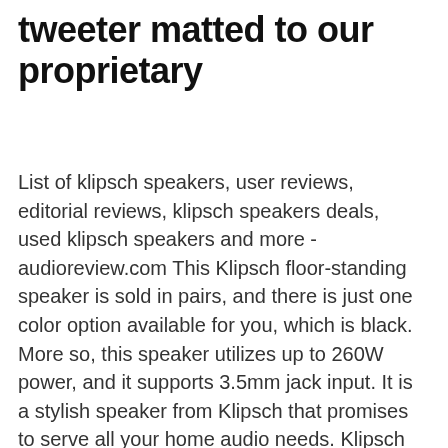tweeter matted to our proprietary
List of klipsch speakers, user reviews, editorial reviews, klipsch speakers deals, used klipsch speakers and more - audioreview.com This Klipsch floor-standing speaker is sold in pairs, and there is just one color option available for you, which is black. More so, this speaker utilizes up to 260W power, and it supports 3.5mm jack input. It is a stylish speaker from Klipsch that promises to serve all your home audio needs. Klipsch premium floorstanding speakers provide soaring highs and booming lows while complementing your home décor. Shop best-in-class floorstanding speakers now.